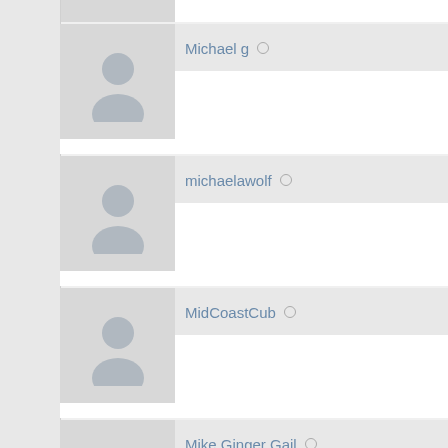Michael g
michaelawolf
MidCoastCub
Mike Ginger Gail
mike gittens
Mike M
Mike Macon
Mike Mertens